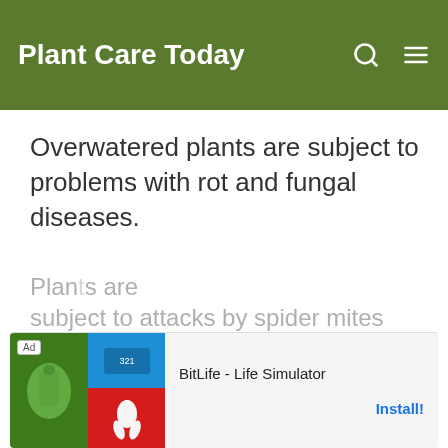Plant Care Today
Overwatered plants are subject to problems with rot and fungal diseases.
[Figure (other): Advertisement banner for BitLife - Life Simulator app with green and red game imagery]
Plants are subject to attacks by spider mites